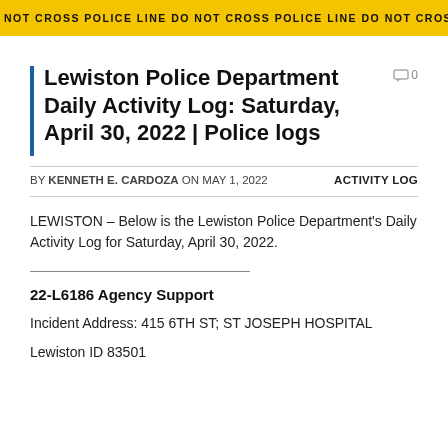[Figure (photo): Yellow police crime scene tape reading 'DO NOT CROSS POLICE LINE DO NOT CROSS POLICE LINE' repeated across the top of the page]
Lewiston Police Department Daily Activity Log: Saturday, April 30, 2022 | Police logs
BY KENNETH E. CARDOZA ON MAY 1, 2022    ACTIVITY LOG
LEWISTON – Below is the Lewiston Police Department's Daily Activity Log for Saturday, April 30, 2022.
22-L6186 Agency Support
Incident Address: 415 6TH ST; ST JOSEPH HOSPITAL
Lewiston ID 83501